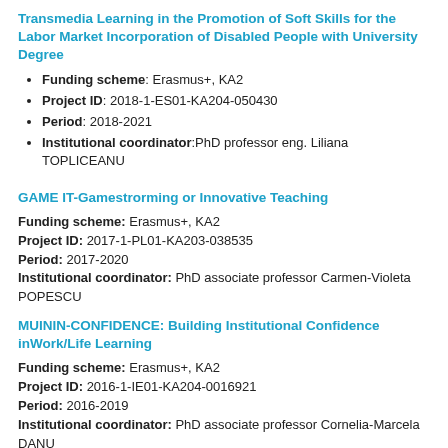Transmedia Learning in the Promotion of Soft Skills for the Labor Market Incorporation of Disabled People with University Degree
Funding scheme: Erasmus+, KA2
Project ID: 2018-1-ES01-KA204-050430
Period: 2018-2021
Institutional coordinator:PhD professor eng. Liliana TOPLICEANU
GAME IT-Gamestrorming or Innovative Teaching
Funding scheme: Erasmus+, KA2
Project ID: 2017-1-PL01-KA203-038535
Period: 2017-2020
Institutional coordinator: PhD associate professor Carmen-Violeta POPESCU
MUININ-CONFIDENCE: Building Institutional Confidence inWork/Life Learning
Funding scheme: Erasmus+, KA2
Project ID: 2016-1-IE01-KA204-0016921
Period: 2016-2019
Institutional coordinator: PhD associate professor Cornelia-Marcela DANU